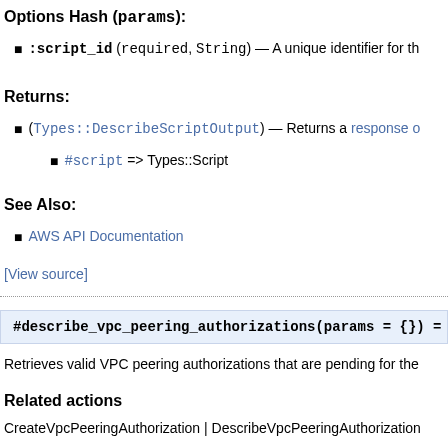Options Hash (params):
:script_id (required, String) — A unique identifier for th
Returns:
(Types::DescribeScriptOutput) — Returns a response o
#script => Types::Script
See Also:
AWS API Documentation
[View source]
#describe_vpc_peering_authorizations(params = {}) =
Retrieves valid VPC peering authorizations that are pending for the
Related actions
CreateVpcPeeringAuthorization | DescribeVpcPeeringAuthorization